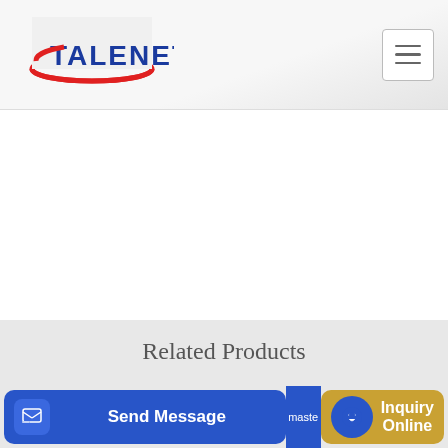[Figure (logo): TALENET company logo with red swoosh and blue text]
Related Products
Jual Concrete Batching Plant Mini kap 25-30 m3 Harga Murah
Concrete Pump Truck Driver Job in HOONG YANG
Send Message
Inquiry Online